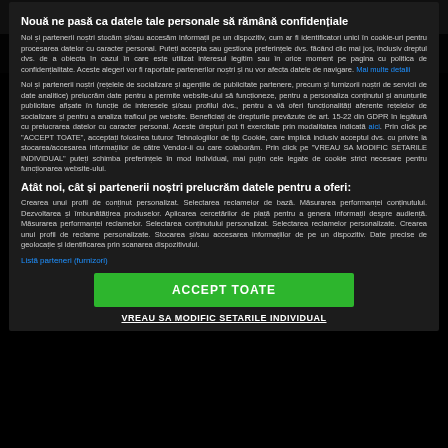Mașina în care se aflau a...
Clipul zilei pe stirilekanald.ro:
Nouă ne pasă ca datele tale personale să rămână confidențiale
Noi și partenerii noștri stocăm și/sau accesăm informații pe un dispozitiv, cum ar fi identificatori unici în cookie-uri pentru procesarea datelor cu caracter personal. Puteți accepta sau gestiona preferințele dvs. făcând clic mai jos, inclusiv dreptul dvs. de a obiecta în cazul în care este utilizat interesul legitim sau în orice moment pe pagina cu politica de confidențialitate. Aceste alegeri vor fi raportate partenerilor noștri și nu vor afecta datele de navigare. Mai multe detalii
Noi și partenerii noștri (rețelele de socializare și agențiile de publicitate partenere, precum și furnizorii noștri de servicii de date analitice) prelucrăm date pentru a permite website-ului să funcționeze, pentru a personaliza conținutul și anunțurile publicitare afișate în funcție de interesele și/sau profilul dvs., pentru a vă oferi funcționalități aferente rețelelor de socializare și pentru a analiza traficul pe website. Beneficiați de drepturile prevăzute de art. 15-22 din GDPR în legătură cu prelucrarea datelor cu caracter personal. Aceste drepturi pot fi exercitate prin modalitatea indicată aici. Prin click pe "ACCEPT TOATE", acceptați folosirea tuturor Tehnologiilor de tip Cookie, care implică inclusiv acceptul dvs. cu privire la stocarea/accesarea informațiilor de către Vendor-ii cu care colaborăm. Prin click pe "VREAU SA MODIFIC SETARILE INDIVIDUAL" puteți schimba preferințele în mod individual, mai puțin cele legate de cookie strict necesare pentru funcționarea website-ului.
Atât noi, cât și partenerii noștri prelucrăm datele pentru a oferi:
Crearea unui profil de conținut personalizat. Selectarea reclamelor de bază. Măsurarea performanței conținutului. Dezvoltarea și îmbunătățirea produselor. Aplicarea cercetărilor de piață pentru a genera informații despre audiență. Măsurarea performanței reclamelor. Selectarea conținutului personalizat. Selectarea reclamelor personalizate. Crearea unui profil de reclame personalizate. Stocarea și/sau accesarea informațiilor de pe un dispozitiv. Date precise de geolocație și identificarea prin scanarea dispozitivului.
Listă parteneri (furnizori)
ACCEPT TOATE
VREAU SA MODIFIC SETARILE INDIVIDUAL